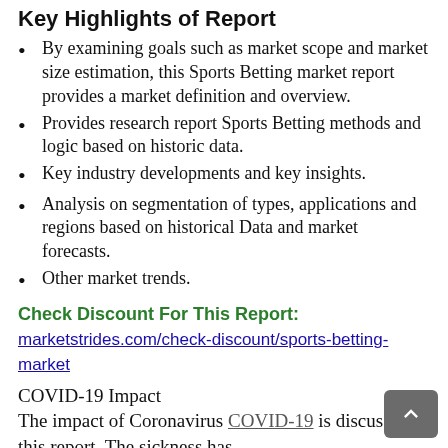Key Highlights of Report
By examining goals such as market scope and market size estimation, this Sports Betting market report provides a market definition and overview.
Provides research report Sports Betting methods and logic based on historic data.
Key industry developments and key insights.
Analysis on segmentation of types, applications and regions based on historical Data and market forecasts.
Other market trends.
Check Discount For This Report: marketstrides.com/check-discount/sports-betting-market
COVID-19 Impact
The impact of Coronavirus COVID-19 is discussed in this report. The sickness has